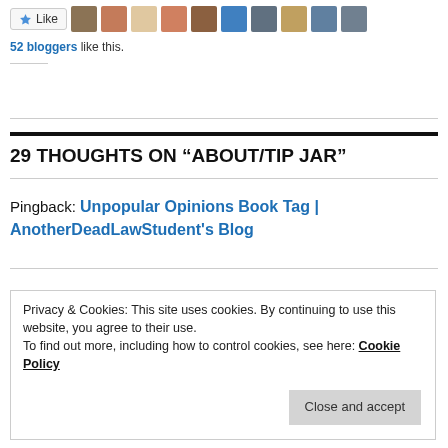[Figure (other): Like button with star icon and a row of blogger avatar profile photos]
52 bloggers like this.
29 THOUGHTS ON “ABOUT/TIP JAR”
Pingback: Unpopular Opinions Book Tag | AnotherDeadLawStudent's Blog
Privacy & Cookies: This site uses cookies. By continuing to use this website, you agree to their use.
To find out more, including how to control cookies, see here: Cookie Policy
Close and accept